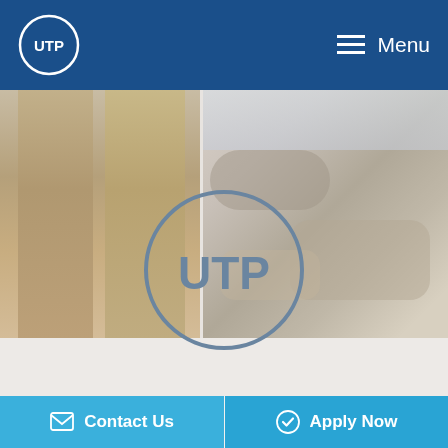UTP — Menu
[Figure (photo): Two people wearing khaki/beige shorts standing near rocks by water, school uniform style clothing]
[Figure (logo): UTP circular logo in gray, centered on light gray background]
Why Choose UTP?
Host Family
Our Schools
Contact Us
Contact Us   Apply Now